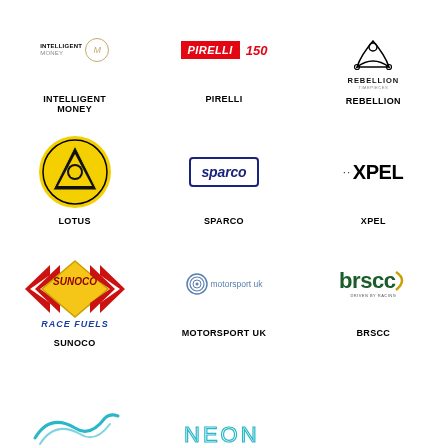[Figure (logo): Intelligent Money logo with circle M emblem]
INTELLIGENT MONEY
[Figure (logo): Pirelli logo with 150th anniversary mark]
PIRELLI
[Figure (logo): Rebellion Timepieces logo]
REBELLION
[Figure (logo): Lotus yellow circle logo]
LOTUS
[Figure (logo): Sparco blue bordered logo]
SPARCO
[Figure (logo): XPEL logo]
XPEL
[Figure (logo): Sunoco Race Fuels logo]
SUNOCO
[Figure (logo): Motorsport UK logo]
MOTORSPORT UK
[Figure (logo): BRSCC Driven by Racing logo]
BRSCC
[Figure (logo): Partial logo at bottom left (wave/bird shape in teal)]
[Figure (logo): Partial NEON logo at bottom center]